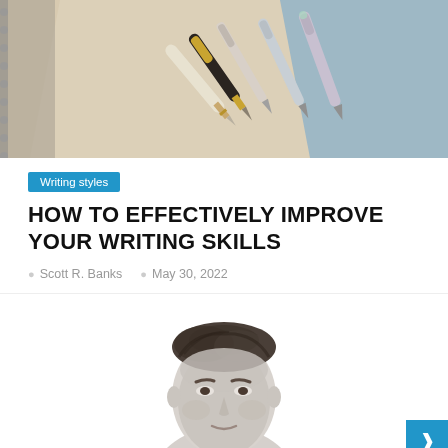[Figure (photo): Hero image showing several fountain pens and writing instruments arranged on beige and blue-grey paper backgrounds]
Writing styles
HOW TO EFFECTIVELY IMPROVE YOUR WRITING SKILLS
Scott R. Banks   May 30, 2022
[Figure (photo): Black and white portrait photo of a man (Scott R. Banks), showing the top of his head and face, cropped]